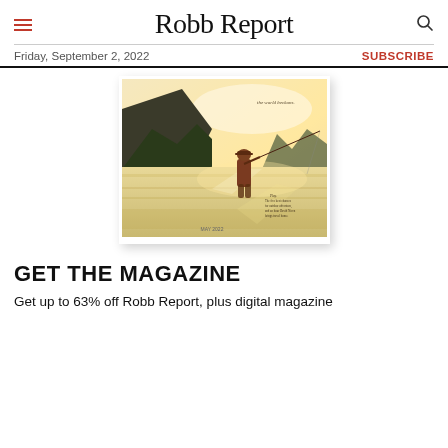Robb Report
Friday, September 2, 2022
SUBSCRIBE
[Figure (illustration): Magazine cover of Robb Report May 2022 showing an illustrated man fly-fishing in a serene lake landscape with mountains and forests, warm golden tones, text reading 'the world beckons.' and 'The five best chances for outdoor adventure, and an hour David Niven brings travel home.' with 'MAY 2022' at the bottom.]
GET THE MAGAZINE
Get up to 63% off Robb Report, plus digital magazine